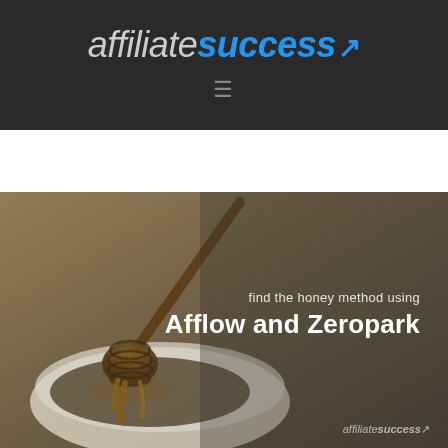affiliatesuccess ↗
[Figure (photo): Honey dipper with honey dripping into a white bowl, with overlay text 'find the honey method using Afflow and Zeropark' and affiliatesuccess watermark in bottom right]
find the honey method using Afflow and Zeropark